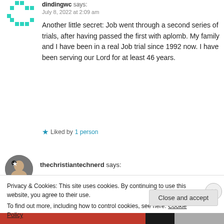dindingwc says:
July 8, 2022 at 2:09 am
Another little secret: Job went through a second series of trials, after having passed the first with aplomb. My family and I have been in a real Job trial since 1992 now. I have been serving our Lord for at least 46 years.
Liked by 1 person
thechristiantechnerd says:
Privacy & Cookies: This site uses cookies. By continuing to use this website, you agree to their use. To find out more, including how to control cookies, see here: Cookie Policy
Close and accept